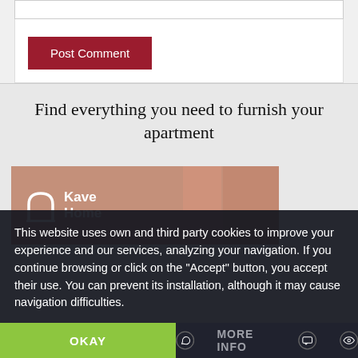[Figure (screenshot): Text input box (comment field) with border]
Post Comment
Find everything you need to furnish your apartment
[Figure (logo): Kave Home logo on a terracotta/salmon colored background with decorative vertical bars]
This website uses own and third party cookies to improve your experience and our services, analyzing your navigation. If you continue browsing or click on the "Accept" button, you accept their use. You can prevent its installation, although it may cause navigation difficulties.
OKAY
MORE INFO